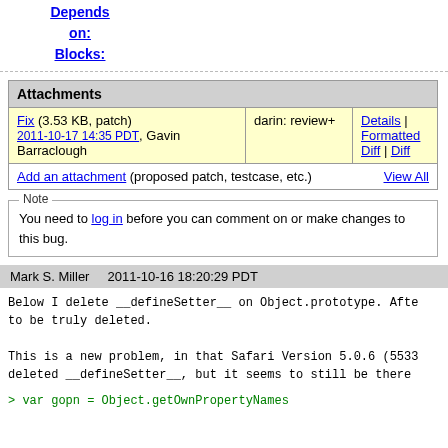Depends on:
Blocks:
| Attachments |
| --- |
| Fix (3.53 KB, patch)
2011-10-17 14:35 PDT, Gavin Barraclough | darin: review+ | Details | Formatted Diff | Diff |
| Add an attachment (proposed patch, testcase, etc.) |  | View All |
Note
You need to log in before you can comment on or make changes to this bug.
Mark S. Miller    2011-10-16 18:20:29 PDT
Below I delete __defineSetter__ on Object.prototype. Afte
to be truly deleted.

This is a new problem, in that Safari Version 5.0.6 (5533
deleted __defineSetter__, but it seems to still be there
> var gopn = Object.getOwnPropertyNames